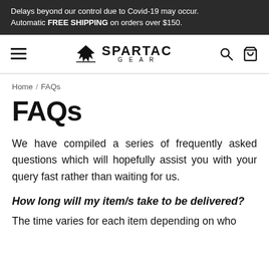Delays beyond our control due to Covid-19 may occur. Automatic FREE SHIPPING on orders over $150.
[Figure (logo): Spartac Gear logo with stylized winged emblem and text SPARTAC GEAR]
Home / FAQs
FAQs
We have compiled a series of frequently asked questions which will hopefully assist you with your query fast rather than waiting for us.
How long will my item/s take to be delivered?
The time varies for each item depending on who